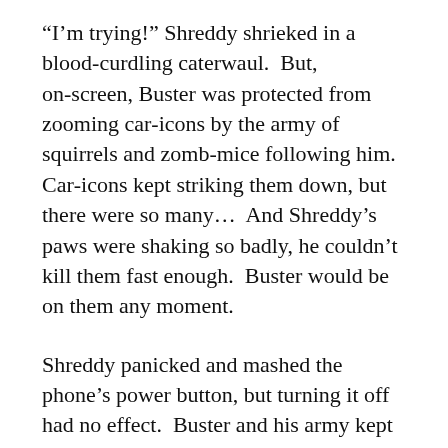“I’m trying!” Shreddy shrieked in a blood-curdling caterwaul.  But, on-screen, Buster was protected from zooming car-icons by the army of squirrels and zomb-mice following him.  Car-icons kept striking them down, but there were so many…  And Shreddy’s paws were shaking so badly, he couldn’t kill them fast enough.  Buster would be on them any moment.
Shreddy panicked and mashed the phone’s power button, but turning it off had no effect.  Buster and his army kept approaching.  As Shreddy powered the phone back up, he cursed the precious moments he’d lost to this futile experiment.  “Turn on!  Turn on!” he yowled.